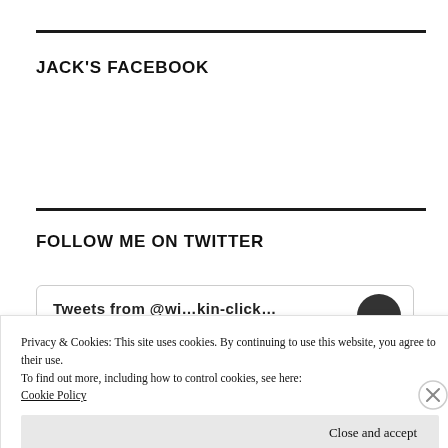JACK'S FACEBOOK
FOLLOW ME ON TWITTER
[Figure (screenshot): Partial Twitter widget box with bold text and a dark circular follow button]
Privacy & Cookies: This site uses cookies. By continuing to use this website, you agree to their use.
To find out more, including how to control cookies, see here:
Cookie Policy
Close and accept